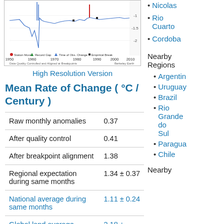[Figure (continuous-plot): Berkeley Earth temperature anomaly chart showing station data from 1950 to 2010, with legend for Station Move, Record Gap, Time of Obs. Change, and Empirical Break. Y-axis shows anomaly values around -1 to -2 °F.]
High Resolution Version
Mean Rate of Change ( °C / Century )
|  |  |
| --- | --- |
| Raw monthly anomalies | 0.37 |
| After quality control | 0.41 |
| After breakpoint alignment | 1.38 |
| Regional expectation during same months | 1.34 ± 0.37 |
| National average during same months | 1.11 ± 0.24 |
| Global land average during | 2.18 ± |
Nicolas
Rio Cuarto
Cordoba
Nearby Regions
Argentina
Uruguay
Brazil
Rio Grande do Sul
Paraguay
Chile
Nearby